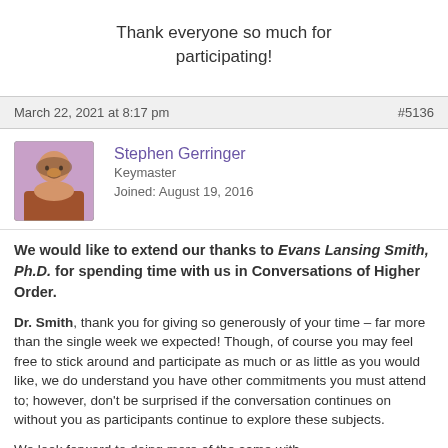Thank everyone so much for participating!
March 22, 2021 at 8:17 pm    #5136
Stephen Gerringer
Keymaster
Joined: August 19, 2016
We would like to extend our thanks to Evans Lansing Smith, Ph.D. for spending time with us in Conversations of Higher Order.
Dr. Smith, thank you for giving so generously of your time – far more than the single week we expected! Though, of course you may feel free to stick around and participate as much or as little as you would like, we do understand you have other commitments you must attend to; however, don't be surprised if the conversation continues on without you as participants continue to explore these subjects.
We look forward to doing more of the same with